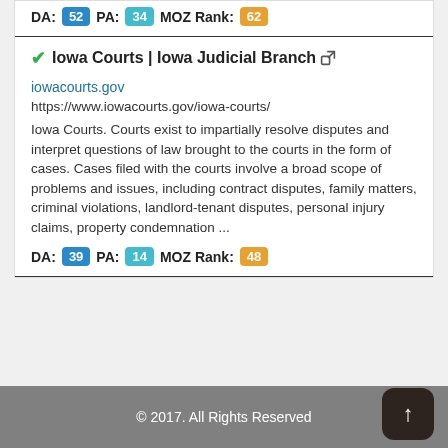career related education ...
DA: 52  PA: 34  MOZ Rank: 62
Iowa Courts | Iowa Judicial Branch
iowacourts.gov
https://www.iowacourts.gov/iowa-courts/
Iowa Courts. Courts exist to impartially resolve disputes and interpret questions of law brought to the courts in the form of cases. Cases filed with the courts involve a broad scope of problems and issues, including contract disputes, family matters, criminal violations, landlord-tenant disputes, personal injury claims, property condemnation ...
DA: 39  PA: 14  MOZ Rank: 48
© 2017. All Rights Reserved